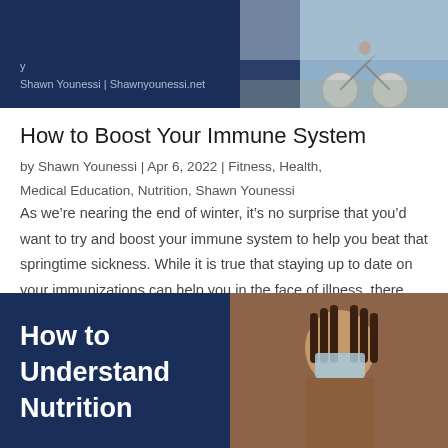[Figure (photo): Dark navy blue banner with partial title text visible at top, author credit 'Shawn Younessi | Shawnyounessi.net', and a cyclist photo on the right side]
How to Boost Your Immune System
by Shawn Younessi | Apr 6, 2022 | Fitness, Health, Medical Education, Nutrition, Shawn Younessi
As we’re nearing the end of winter, it’s no surprise that you’d want to try and boost your immune system to help you beat that springtime sickness. While it is true that staying up to date on your immunizations can help you in the face of illness, there are some…
[Figure (photo): Dark navy blue banner with bold white text reading 'How to Understand Nutrition' on the left, and a photo of a woman wearing a face mask on the right side]